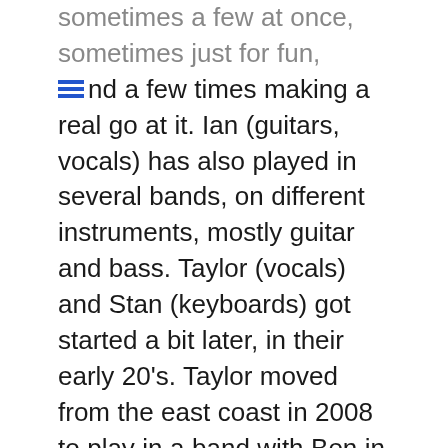sometimes a few at once, sometimes just for fun, and a few times making a real go at it. Ian (guitars, vocals) has also played in several bands, on different instruments, mostly guitar and bass. Taylor (vocals) and Stan (keyboards) got started a bit later, in their early 20's. Taylor moved from the east coast in 2008 to play in a band with Ben in Chicago, and they have been in 2 other groups together since then. Stan moved out recently to form this project. We all knew we wanted to pursue this music about a year ago. Taylor, Ian, and Ben were all in another Chicago band that was just slowing down to a stop, so we got together and started writing our own music to see if it would go anywhere. After 3 songs were roughly written, we knew we had something and decided to pour ourselves into it.